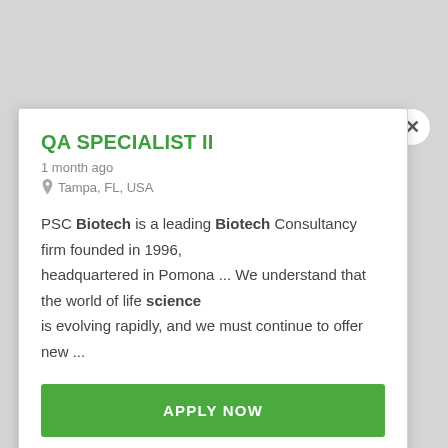QA SPECIALIST II
1 month ago
Tampa, FL, USA
PSC Biotech is a leading Biotech Consultancy firm founded in 1996, headquartered in Pomona ... We understand that the world of life science is evolving rapidly, and we must continue to offer new ...
APPLY NOW